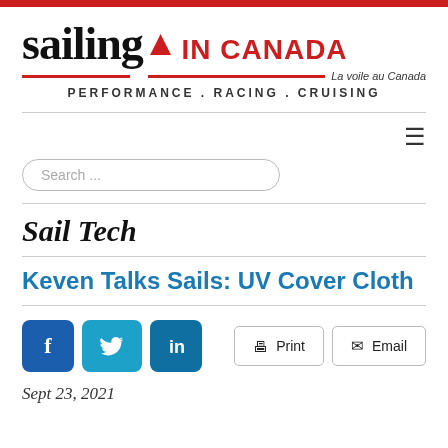[Figure (logo): Sailing in Canada logo with red flame accent, tagline PERFORMANCE . RACING . CRUISING, and La voile au Canada subtitle]
Sail Tech
Keven Talks Sails: UV Cover Cloth
[Figure (infographic): Social share buttons (Facebook, Twitter, LinkedIn) and action buttons (Print, Email)]
Sept 23, 2021